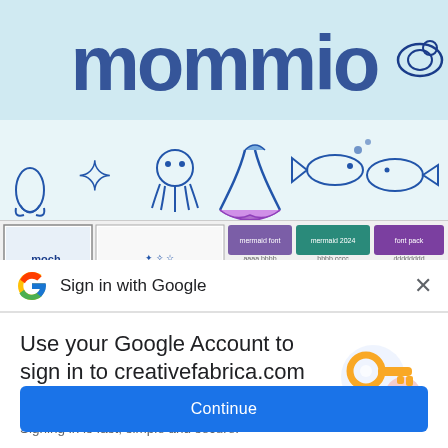[Figure (screenshot): Website banner showing ocean/mermaid themed art with large handwritten-style text and clipart illustrations of sea creatures including mermaids, starfish, octopus, fish, whale, turtle on light blue background. Below are product thumbnails in a row.]
Sign in with Google
Use your Google Account to sign in to creativefabrica.com
No more passwords to remember. Signing in is fast, simple and secure.
Continue